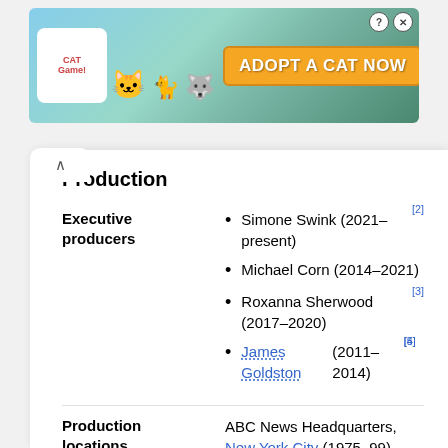[Figure (other): Online advertisement banner for a cat game app showing cartoon cats and text 'ADOPT A CAT NOW' with a close button (X) and help button (?).]
Production
| Label | Value |
| --- | --- |
| Executive producers | Simone Swink (2021–present)[2]; Michael Corn (2014–2021); Roxanna Sherwood (2017–2020)[3]; James Goldston (2011–2014)[4][5] |
| Production locations | ABC News Headquarters, New York City (1975–99) |